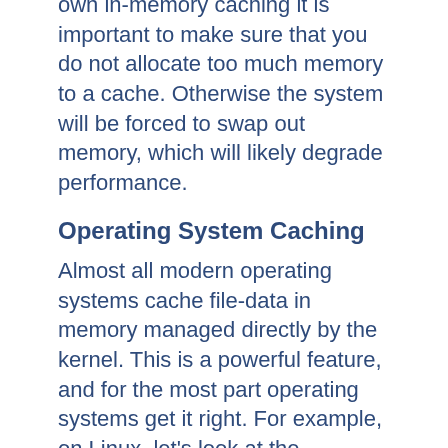own in-memory caching it is important to make sure that you do not allocate too much memory to a cache. Otherwise the system will be forced to swap out memory, which will likely degrade performance.
Operating System Caching
Almost all modern operating systems cache file-data in memory managed directly by the kernel. This is a powerful feature, and for the most part operating systems get it right. For example, on Linux, let's look at the difference in the time it takes to read a file for the first time and the second time;